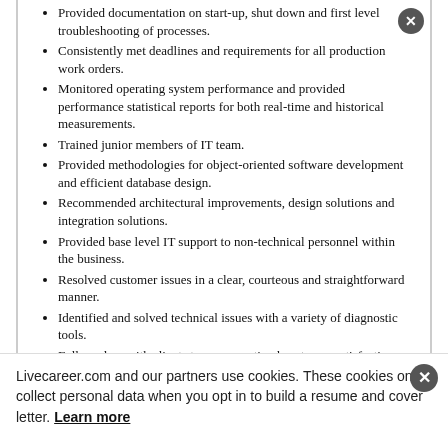Provided documentation on start-up, shut down and first level troubleshooting of processes.
Consistently met deadlines and requirements for all production work orders.
Monitored operating system performance and provided performance statistical reports for both real-time and historical measurements.
Trained junior members of IT team.
Provided methodologies for object-oriented software development and efficient database design.
Recommended architectural improvements, design solutions and integration solutions.
Provided base level IT support to non-technical personnel within the business.
Resolved customer issues in a clear, courteous and straightforward manner.
Identified and solved technical issues with a variety of diagnostic tools.
Followed up with clients to ensure optimal customer satisfaction.
Conducted research to address customer concerns.
Level 1 and 2 IT Support Analyst   12/1998 to 10/1999
Alliance Of Professionals & Consultants, Inc. (APC) – City ,
Livecareer.com and our partners use cookies. These cookies only collect personal data when you opt in to build a resume and cover letter. Learn more